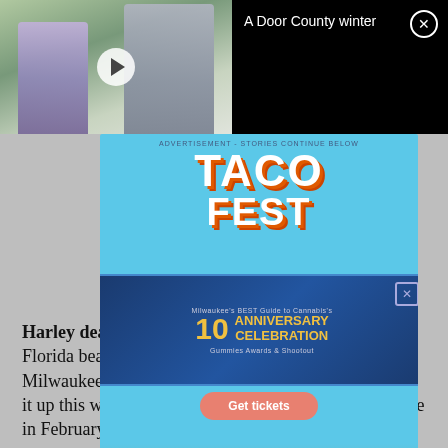[Figure (screenshot): Video thumbnail showing two people cross-country skiing in a snowy wooded area, with a play button overlay. Title panel on right reads 'A Door County winter' with a close button.]
[Figure (screenshot): Taco Fest advertisement banner with text 'TACO FEST', date 'Sept. 10', 'Get tickets' button, and nested inner ad for '10th Anniversary Celebration'.]
Harley dealers: For riders who can't make it to the Florida beaches for Daytona Bike Week, the five Milwaukee-area Harley-Davidson dealers are warming it up this winter with events, parties, seminars and more in February and March.